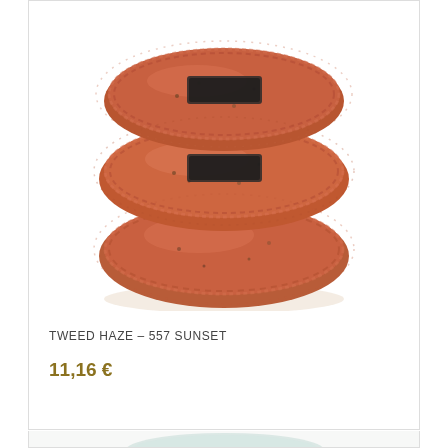[Figure (photo): Three balls/skeins of fuzzy rust/terracotta orange tweed yarn stacked on top of each other against a white background. The yarn has a fluffy, halo-like texture with flecks of different colors typical of tweed yarn.]
TWEED HAZE - 557 SUNSET
11,16 €
[Figure (photo): A skein of light blue/mint colored tweed yarn with a brown label, partially visible at the bottom of the page. A grey circular arrow/upload icon is visible in the upper right of this section.]